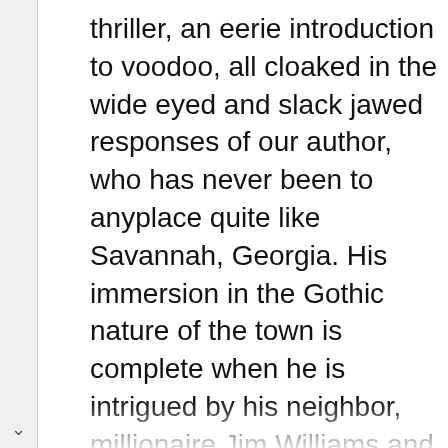thriller, an eerie introduction to voodoo, all cloaked in the wide eyed and slack jawed responses of our author, who has never been to anyplace quite like Savannah, Georgia. His immersion in the Gothic nature of the town is complete when he is intrigued by his neighbor, millionaire Jim Williams and becomes even more fascinated when Williams is charged with the murder of his lover, Danny. To say anything else would be to spoil the book.

This book does contain openly homoxesual and transgender characters, which may